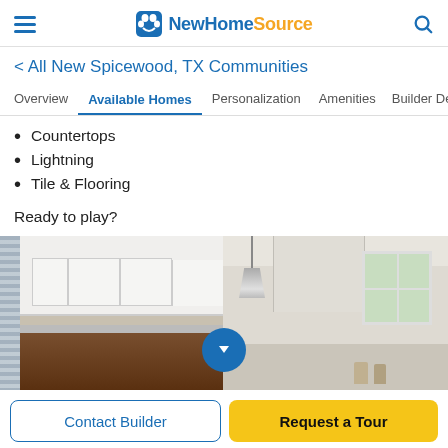NewHomeSource
< All New Spicewood, TX Communities
Overview | Available Homes | Personalization | Amenities | Builder De>
Countertops
Lightning
Tile & Flooring
Ready to play?
[Figure (photo): Two kitchen interior photos side by side showing white cabinets, wood accents, pendant lighting, and kitchen hood]
Contact Builder
Request a Tour